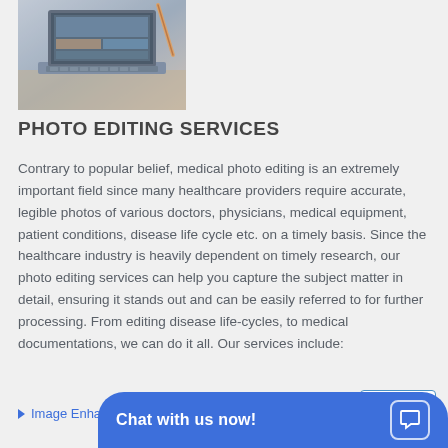[Figure (photo): Laptop computer on a desk, partially visible, showing a graphic design or editing software on screen]
PHOTO EDITING SERVICES
Contrary to popular belief, medical photo editing is an extremely important field since many healthcare providers require accurate, legible photos of various doctors, physicians, medical equipment, patient conditions, disease life cycle etc. on a timely basis. Since the healthcare industry is heavily dependent on timely research, our photo editing services can help you capture the subject matter in detail, ensuring it stands out and can be easily referred to for further processing. From editing disease life-cycles, to medical documentations, we can do it all. Our services include:
Image Enhancement